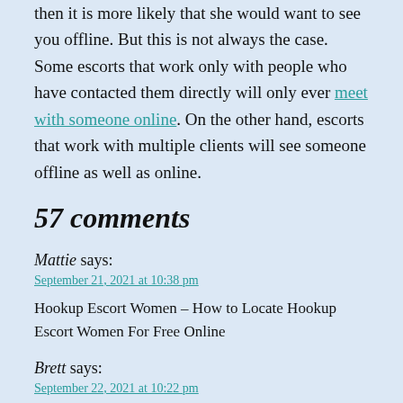then it is more likely that she would want to see you offline. But this is not always the case. Some escorts that work only with people who have contacted them directly will only ever meet with someone online. On the other hand, escorts that work with multiple clients will see someone offline as well as online.
57 comments
Mattie says:
September 21, 2021 at 10:38 pm
Hookup Escort Women – How to Locate Hookup Escort Women For Free Online
Brett says:
September 22, 2021 at 10:22 pm